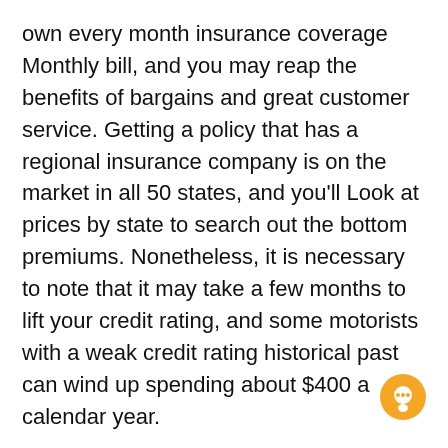own every month insurance coverage Monthly bill, and you may reap the benefits of bargains and great customer service. Getting a policy that has a regional insurance company is on the market in all 50 states, and you'll Look at prices by state to search out the bottom premiums. Nonetheless, it is necessary to note that it may take a few months to lift your credit rating, and some motorists with a weak credit rating historical past can wind up spending about $400 a calendar year.
Erie Insurance policies is another regional insurance provider that offers low cost vehicle insurance. This organization is located in Pennsylvania, and has become in enterprise due to the fact 1925. Erie delivers auto insurance plan, lifetime, and assets insurance coverage. Though Erie only presents coverage in selected states, it has a lot more than 13,000 independent insurance brokers during The usa. You are able to pick out an agent or simply a regional insurance company In accordance with your preferences. However, it is usually